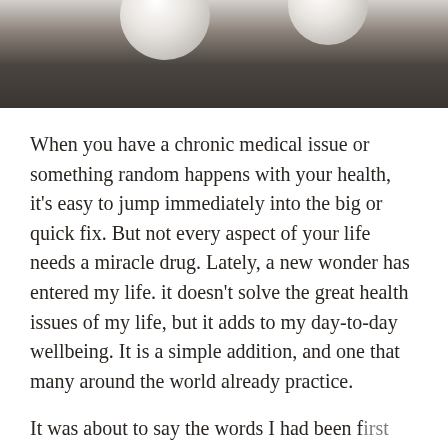[Figure (photo): Top portion of a photo showing two light-colored orbs or spheres against a dark wooden or corrugated metal background]
When you have a chronic medical issue or something random happens with your health, it's easy to jump immediately into the big or quick fix. But not every aspect of your life needs a miracle drug. Lately, a new wonder has entered my life. it doesn't solve the great health issues of my life, but it adds to my day-to-day wellbeing. It is a simple addition, and one that many around the world already practice.
It was about to say the words I had been first...